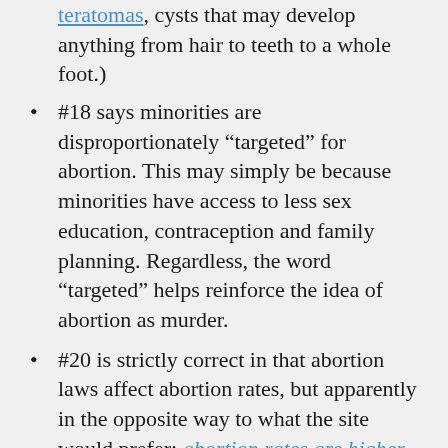teratomas, cysts that may develop anything from hair to teeth to a whole foot.)
#18 says minorities are disproportionately “targeted” for abortion. This may simply be because minorities have access to less sex education, contraception and family planning. Regardless, the word “targeted” helps reinforce the idea of abortion as murder.
#20 is strictly correct in that abortion laws affect abortion rates, but apparently in the opposite way to what the site would prefer: abortion rates are higher when the laws are stricter, and vice versa.
Personally, I am not an authority on abortion (hardly anyone in the debate really is), but I am